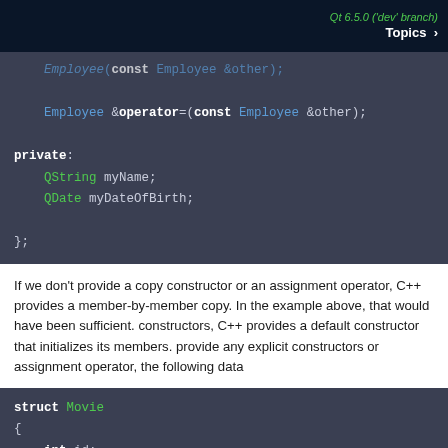Qt 6.5.0 ('dev' branch)  Topics >
[Figure (screenshot): Code block showing C++ class member definitions: Employee copy constructor, assignment operator, private section with QString myName and QDate myDateOfBirth members, closing brace]
If we don't provide a copy constructor or an assignment operator, C++ provides a member-by-member copy. In the example above, that would have been s... constructors, C++ provides a default constructor that initializes its memb... provide any explicit constructors or assignment operator, the following da...
[Figure (screenshot): Code block showing C++ struct Movie definition with int id, QString title, QDate releaseDate members]